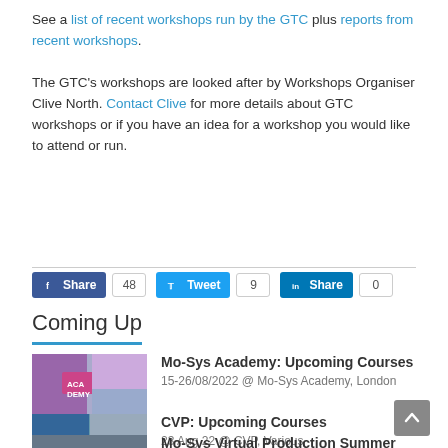See a list of recent workshops run by the GTC plus reports from recent workshops. The GTC's workshops are looked after by Workshops Organiser Clive North. Contact Clive for more details about GTC workshops or if you have an idea for a workshop you would like to attend or run.
[Figure (infographic): Social share buttons: Facebook Share (48), Twitter Tweet (9), LinkedIn Share (0)]
Coming Up
[Figure (photo): Thumbnail image for Mo-Sys Academy: Upcoming Courses]
Mo-Sys Academy: Upcoming Courses
15-26/08/2022 @ Mo-Sys Academy, London
[Figure (photo): Thumbnail image for CVP: Upcoming Courses]
CVP: Upcoming Courses
23 Aug 22 @ CVP, Various
[Figure (photo): Thumbnail image for Mo-Sys Virtual Production Summer BBQ]
Mo-Sys Virtual Production Summer BBQ